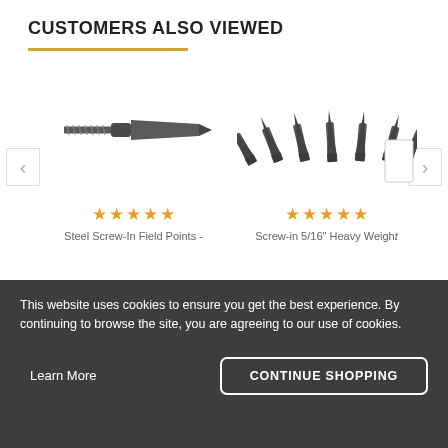CUSTOMERS ALSO VIEWED
[Figure (photo): Steel screw-in field point arrow tip product photo]
★★★★★
Steel Screw-In Field Points -
[Figure (photo): Screw-in 5/16 inch heavy weight arrow tips set product photo]
★★★★★
Screw-in 5/16" Heavy Weight
$12.99
This website uses cookies to ensure you get the best experience. By continuing to browse the site, you are agreeing to our use of cookies.
Learn More
CONTINUE SHOPPING